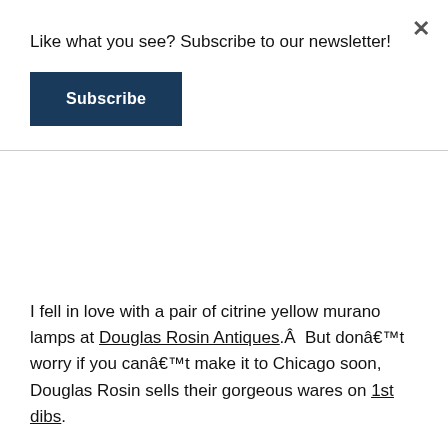×
Like what you see? Subscribe to our newsletter!
Subscribe
I fell in love with a pair of citrine yellow murano lamps at Douglas Rosin Antiques.Â  But donâ€™t worry if you canâ€™t make it to Chicago soon, Douglas Rosin sells their gorgeous wares on 1st dibs.